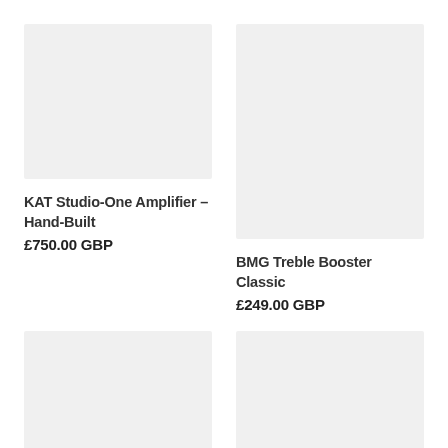[Figure (photo): Product image placeholder for KAT Studio-One Amplifier - Hand-Built]
[Figure (photo): Product image placeholder for BMG Treble Booster Classic]
KAT Studio-One Amplifier - Hand-Built
£750.00 GBP
BMG Treble Booster Classic
£249.00 GBP
[Figure (photo): Product image placeholder (bottom left)]
[Figure (photo): Product image placeholder (bottom right)]